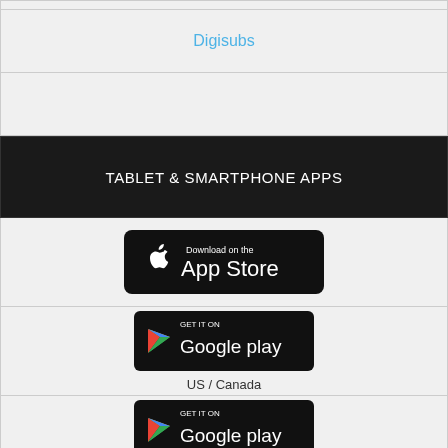Digisubs
TABLET & SMARTPHONE APPS
[Figure (logo): Download on the App Store badge]
[Figure (logo): Get it on Google play badge — US / Canada]
US / Canada
[Figure (logo): Get it on Google play badge — UK / Australia]
UK / Australia
Related content